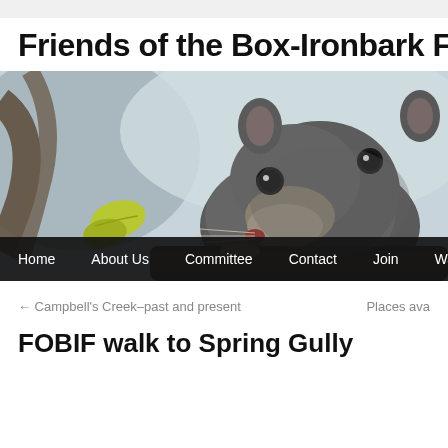Friends of the Box-Ironbark Fo
[Figure (photo): Close-up photograph of a small marsupial (likely a spotted-tailed quoll or similar Australian native animal) perched on a tree branch, with a blurred background and a yellow-green leaf visible]
Home   About Us   Committee   Contact   Join   Walks
← Campbell's Creek–past and present
Places ava
FOBIF walk to Spring Gully